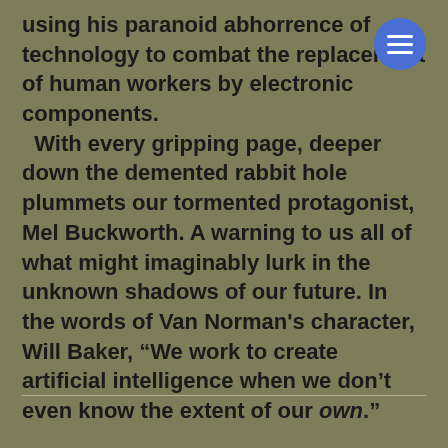using his paranoid abhorrence of technology to combat the replacement of human workers by electronic components. With every gripping page, deeper down the demented rabbit hole plummets our tormented protagonist, Mel Buckworth. A warning to us all of what might imaginably lurk in the unknown shadows of our future. In the words of Van Norman's character, Will Baker, “We work to create artificial intelligence when we don’t even know the extent of our own.”